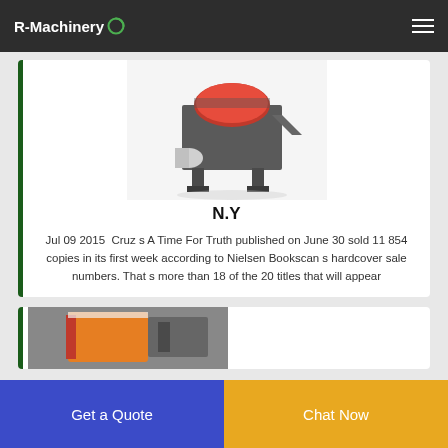R-Machinery
[Figure (photo): 3D render of industrial shredder/crusher machine in gray and red on white background]
N.Y
Jul 09 2015  Cruz s A Time For Truth published on June 30 sold 11 854 copies in its first week according to Nielsen Bookscan s hardcover sale numbers. That s more than 18 of the 20 titles that will appear
[Figure (photo): Partial view of industrial machinery in orange and gray in a warehouse setting]